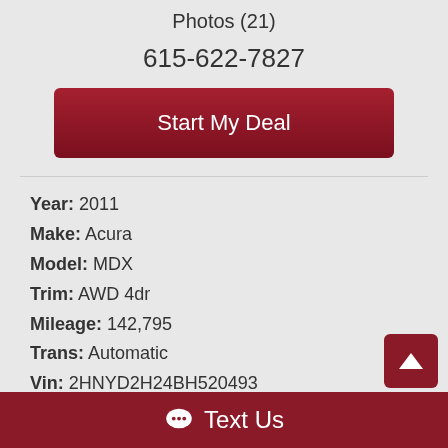Photos (21)
615-622-7827
Start My Deal
Year: 2011
Make: Acura
Model: MDX
Trim: AWD 4dr
Mileage: 142,795
Trans: Automatic
Vin: 2HNYD2H24BH520493
Stock #: 520493 (partial)
Text Us